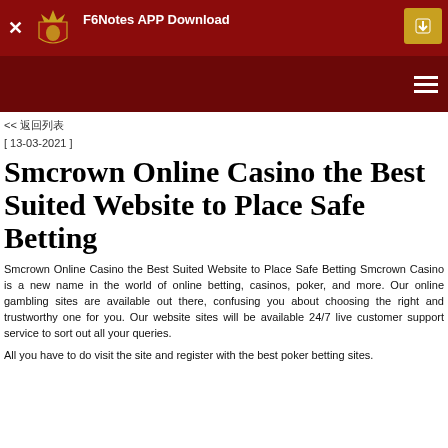F6Notes APP Download | [menu icon]
<< 返回列表
[ 13-03-2021 ]
Smcrown Online Casino the Best Suited Website to Place Safe Betting
Smcrown Online Casino the Best Suited Website to Place Safe Betting Smcrown Casino is a new name in the world of online betting, casinos, poker, and more. Our online gambling sites are available out there, confusing you about choosing the right and trustworthy one for you. Our website sites will be available 24/7 live customer support service to sort out all your queries.

All you have to do visit the site and register with the best poker betting sites.